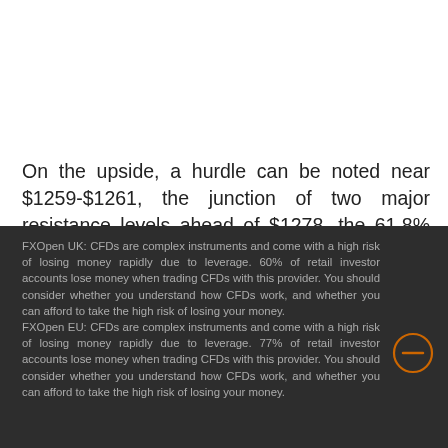On the upside, a hurdle can be noted near $1259-$1261, the junction of two major resistance levels ahead of $1278, the 61.8% fib level and then $1295, the upper trendline resistance area as demonstrated with brown color in the given above daily chart. The technical bias shall remain
FXOpen UK: CFDs are complex instruments and come with a high risk of losing money rapidly due to leverage. 60% of retail investor accounts lose money when trading CFDs with this provider. You should consider whether you understand how CFDs work, and whether you can afford to take the high risk of losing your money. FXOpen EU: CFDs are complex instruments and come with a high risk of losing money rapidly due to leverage. 77% of retail investor accounts lose money when trading CFDs with this provider. You should consider whether you understand how CFDs work, and whether you can afford to take the high risk of losing your money.